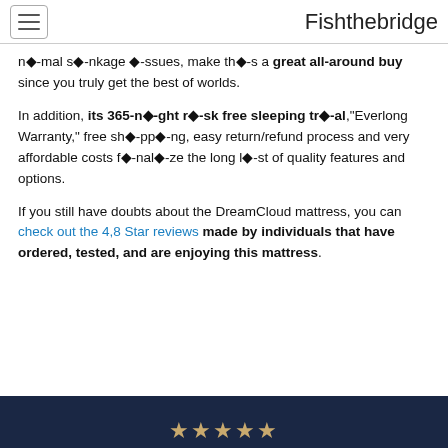Fishthebridge
n◆-mal s◆-nkage ◆-ssues, make th◆-s a great all-around buy since you truly get the best of worlds.
In addition, its 365-n◆-ght r◆-sk free sleeping tr◆-al,"Everlong Warranty," free sh◆-pp◆-ng, easy return/refund process and very affordable costs f◆-nal◆-ze the long l◆-st of quality features and options.
If you still have doubts about the DreamCloud mattress, you can check out the 4,8 Star reviews made by individuals that have ordered, tested, and are enjoying this mattress.
[Figure (other): Dark navy bar at bottom with gold star rating symbols]